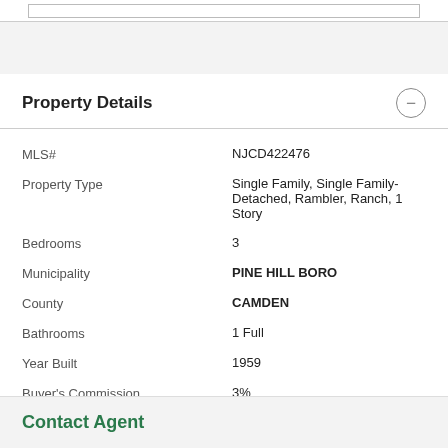Property Details
| Field | Value |
| --- | --- |
| MLS# | NJCD422476 |
| Property Type | Single Family, Single Family-Detached, Rambler, Ranch, 1 Story |
| Bedrooms | 3 |
| Municipality | PINE HILL BORO |
| County | CAMDEN |
| Bathrooms | 1 Full |
| Year Built | 1959 |
| Buyer's Commission | 3% |
| Lot Size | 0.23 Acres |
| Water | Gas Water Heater, Electric Water Heater, Public Wa |
Contact Agent